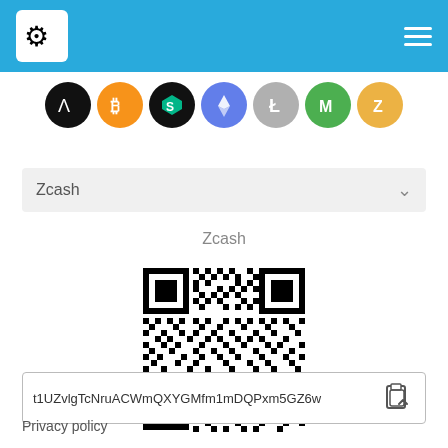[Figure (illustration): Blue navigation header bar with a white logo icon on the left and hamburger menu icon on the right]
[Figure (illustration): Row of cryptocurrency coin icons: Arweave (black), Bitcoin (orange), ??? (green/black), Ethereum (purple), Litecoin (gray), Monero (green), Zcash (yellow)]
Zcash
Zcash
[Figure (other): QR code for Zcash cryptocurrency address t1UZvlgTcNruACWmQXYGMfm1mDQPxm5GZ6w]
t1UZvlgTcNruACWmQXYGMfm1mDQPxm5GZ6w
Privacy policy